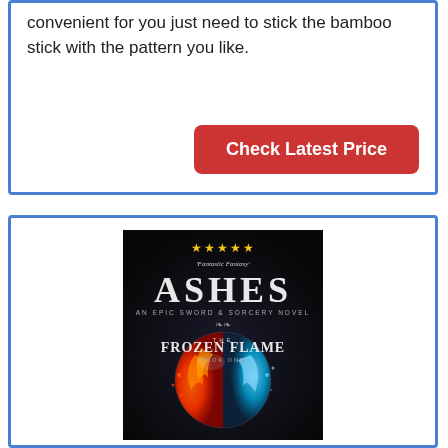convenient for you just need to stick the bamboo stick with the pattern you like.
Check Latest Price
[Figure (illustration): Book cover for 'Ashes: An Epic Sword & Sorcery Novel - The Frozen Flame Book One' showing a dramatic fire and ice globe with five gold stars and 'Fantastic Fantasy' text, dark background.]